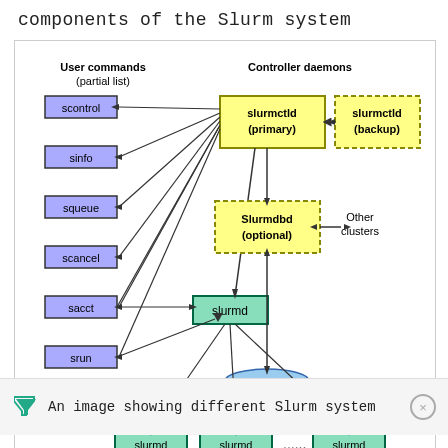components of the Slurm system
[Figure (flowchart): Diagram showing components of the Slurm system including User commands (scontrol, sinfo, squeue, scancel, sacct, srun), Controller daemons (slurmctld primary and backup), slurmd, Slurmdbd (optional), Database, compute node daemons (slurmd x3), and Other clusters. Arrows show bidirectional and unidirectional connections between components.]
Slurm System Components
An image showing different Slurm system